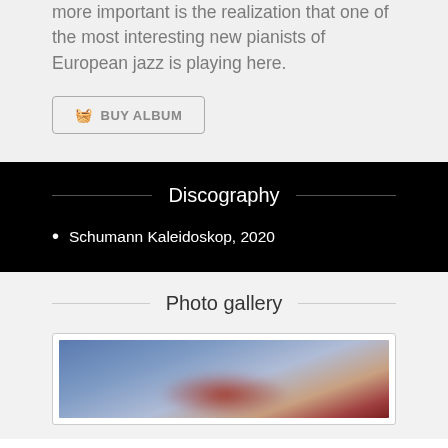more important is the realization that one of the most interesting new pianists of European jazz is playing here.
BUY ALBUM
Discography
Schumann Kaleidoskop, 2020
Photo gallery
[Figure (photo): Blurred photo with blue background and red/dark figure in lower portion]